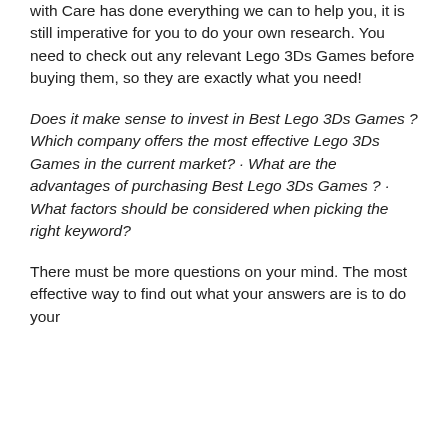with Care has done everything we can to help you, it is still imperative for you to do your own research. You need to check out any relevant Lego 3Ds Games before buying them, so they are exactly what you need!
Does it make sense to invest in Best Lego 3Ds Games ? Which company offers the most effective Lego 3Ds Games in the current market? · What are the advantages of purchasing Best Lego 3Ds Games ? · What factors should be considered when picking the right keyword?
There must be more questions on your mind. The most effective way to find out what your answers are is to do your